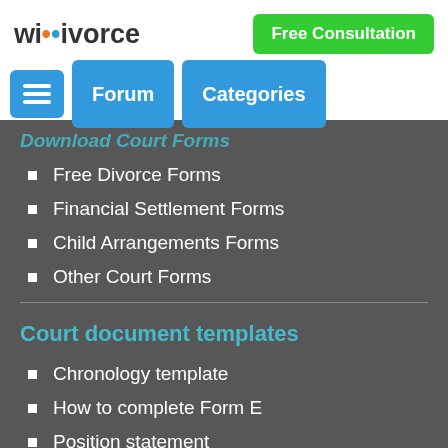wikivorce | Free Consultation
Download Court Forms
Free Divorce Forms
Financial Settlement Forms
Child Arrangements Forms
Other Court Forms
Court document templates
Chronology template
How to complete Form E
Position statement